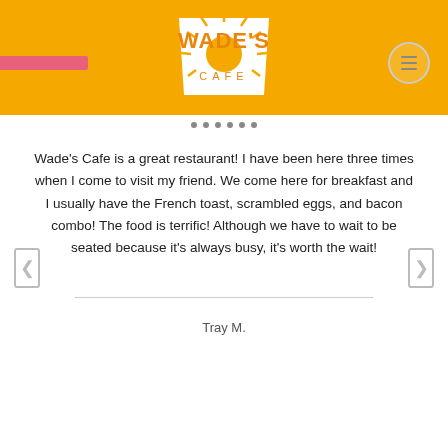[Figure (logo): Wade's Cafe logo: white trapezoid with orange sun rays and text 'WADE'S CAFE' on orange background header]
Wade's Cafe is a great restaurant! I have been here three times when I come to visit my friend. We come here for breakfast and I usually have the French toast, scrambled eggs, and bacon combo! The food is terrific! Although we have to wait to be seated because it's always busy, it's worth the wait!
Tray M.